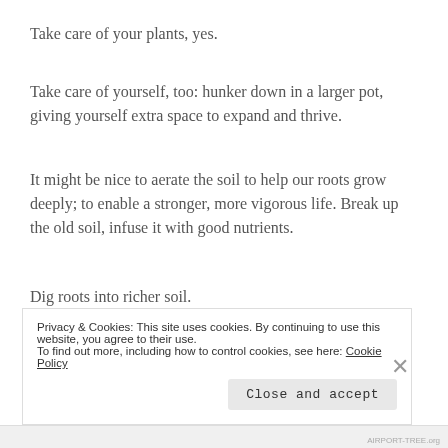Take care of your plants, yes.
Take care of yourself, too: hunker down in a larger pot, giving yourself extra space to expand and thrive.
It might be nice to aerate the soil to help our roots grow deeply; to enable a stronger, more vigorous life. Break up the old soil, infuse it with good nutrients.
Dig roots into richer soil.
A Prayer of St. Patrick comes to mind. In part, here you go:
Privacy & Cookies: This site uses cookies. By continuing to use this website, you agree to their use.
To find out more, including how to control cookies, see here: Cookie Policy
AIRPORT-TREE.org